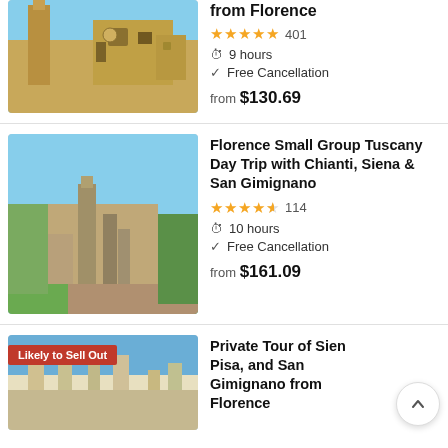[Figure (photo): Aerial view of Siena medieval architecture with tall tower and clock tower]
from Florence
★★★★★ 401
9 hours
Free Cancellation
from $130.69
[Figure (photo): Aerial view of San Gimignano with medieval towers and Tuscan countryside]
Florence Small Group Tuscany Day Trip with Chianti, Siena & San Gimignano
★★★★½ 114
10 hours
Free Cancellation
from $161.09
[Figure (photo): San Gimignano towers against blue sky with Likely to Sell Out badge]
Private Tour of Siena, Pisa, and San Gimignano from Florence